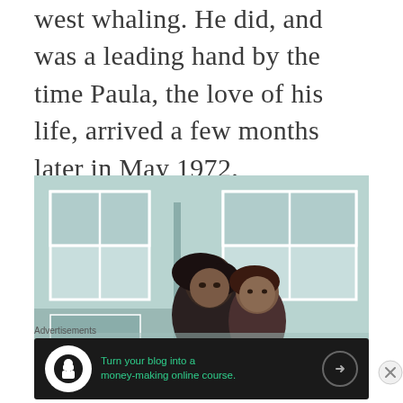west whaling. He did, and was a leading hand by the time Paula, the love of his life, arrived a few months later in May 1972.
[Figure (photo): A couple — a man with dark hair and a woman — standing close together in front of a building with white-framed windows; appears to be a vintage photograph from the early 1970s in muted teal/grey tones.]
Advertisements
[Figure (infographic): Advertisement banner: dark background with circular icon (tree/person silhouette), green text reading 'Turn your blog into a money-making online course.' with a right-arrow button.]